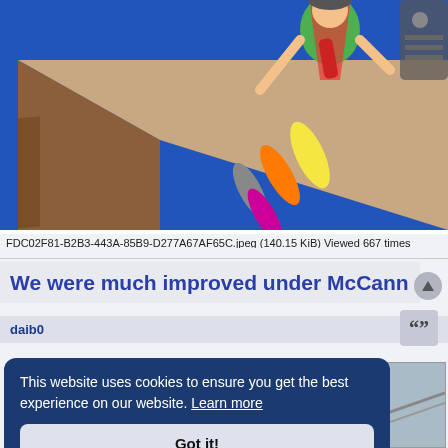[Figure (illustration): Colorful isometric illustration of a factory assembly line worker in a red/green vest sorting or placing colorful tool-shaped items on a conveyor belt. Blue background.]
FDC02F81-B2B3-443A-85B9-D277A67AF65C.jpeg (140.15 KiB) Viewed 667 times
We were much improved under McCann
daib0
This website uses cookies to ensure you get the best experience on our website. Learn more
Got it!